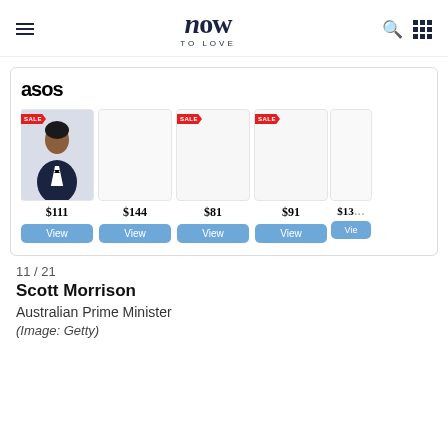now TO LOVE
[Figure (screenshot): ASOS product widget showing 5 product cards (one partially visible) with prices $111, $144, $81, $91, $13x and View buttons. Some items have red SALE tags. First card shows a man in a tuxedo.]
11 / 21
Scott Morrison
Australian Prime Minister
(Image: Getty)